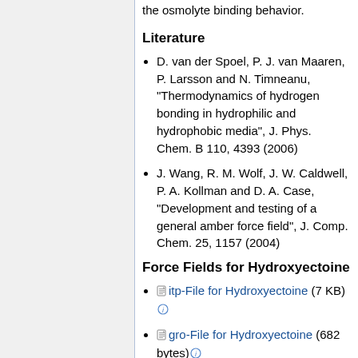the osmolyte binding behavior.
Literature
D. van der Spoel, P. J. van Maaren, P. Larsson and N. Timneanu, "Thermodynamics of hydrogen bonding in hydrophilic and hydrophobic media", J. Phys. Chem. B 110, 4393 (2006)
J. Wang, R. M. Wolf, J. W. Caldwell, P. A. Kollman and D. A. Case, "Development and testing of a general amber force field", J. Comp. Chem. 25, 1157 (2004)
Force Fields for Hydroxyectoine
itp-File for Hydroxyectoine (7 KB)
gro-File for Hydroxyectoine (682 bytes)